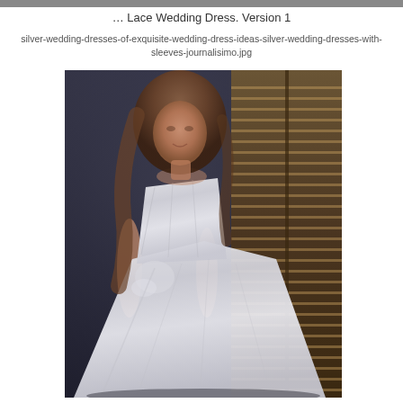… Lace Wedding Dress. Version 1
silver-wedding-dresses-of-exquisite-wedding-dress-ideas-silver-wedding-dresses-with-sleeves-journalisimo.jpg
[Figure (photo): A woman wearing a strapless silver/white satin wedding dress with draped bodice, ruched details, floral lace applique at the hip, and a full A-line skirt with train. She stands in front of wooden shutters in a dark, moody setting with long wavy hair.]